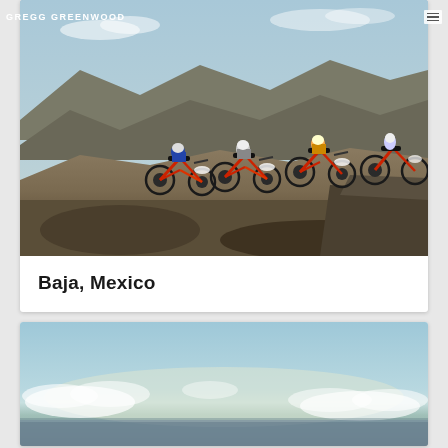GREGG GREENWOOD
[Figure (photo): Multiple red and white dirt bikes / motocross bikes parked on a dusty hilltop ridge in a desert mountain landscape. Riders in gear visible next to the bikes. Arid brown hills in the background under a partly cloudy sky.]
Baja, Mexico
[Figure (photo): Wide panoramic ocean or bay scene with blue sky, scattered white clouds near the horizon, and water below. Low horizon line with calm water.]